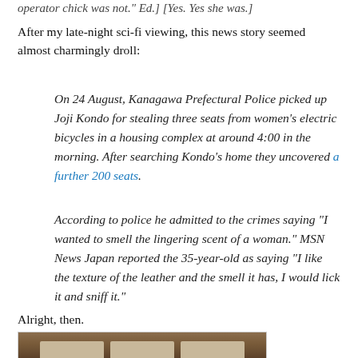operator chick was not." Ed.] [Yes. Yes she was.]
After my late-night sci-fi viewing, this news story seemed almost charmingly droll:
On 24 August, Kanagawa Prefectural Police picked up Joji Kondo for stealing three seats from women's electric bicycles in a housing complex at around 4:00 in the morning. After searching Kondo's home they uncovered a further 200 seats.
According to police he admitted to the crimes saying “I wanted to smell the lingering scent of a woman.” MSN News Japan reported the 35-year-old as saying “I like the texture of the leather and the smell it has, I would lick it and sniff it.”
Alright, then.
[Figure (photo): Photograph of bicycle seats, brown leather seats in a row]